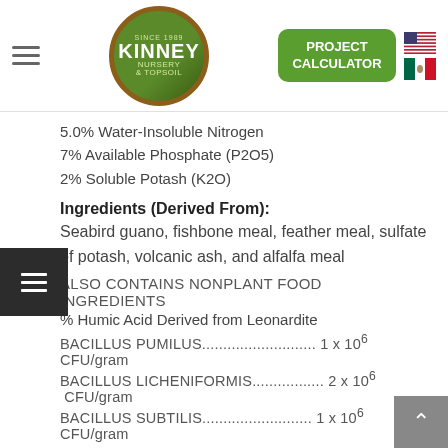Kinney Nursery - Project Calculator
5.0% Water-Insoluble Nitrogen
7% Available Phosphate (P2O5)
2% Soluble Potash (K2O)
Ingredients (Derived From):
Seabird guano, fishbone meal, feather meal, sulfate of potash, volcanic ash, and alfalfa meal
ALSO CONTAINS NONPLANT FOOD INGREDIENTS
% Humic Acid Derived from Leonardite
BACILLUS PUMILUS............................ 1 x 106 CFU/gram
BACILLUS LICHENIFORMIS................... 2 x 106 CFU/gram
BACILLUS SUBTILIS........................... 1 x 106 CFU/gram